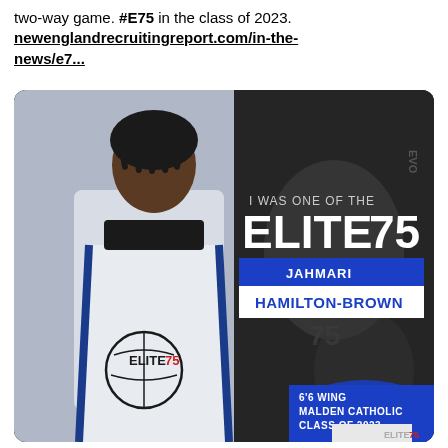two-way game. #E75 in the class of 2023. newenglandrecruitingreport.com/in-the-news/e7...
[Figure (photo): Elite 75 promotional graphic featuring Jahmari Hamilton-Brown, a 6'6 wing from Malden Catholic, Class of 2023. Player stands in white Elite 75 jersey against a dark background. Text overlay reads 'I WAS ONE OF THE ELITE 75' with name banner and player details.]